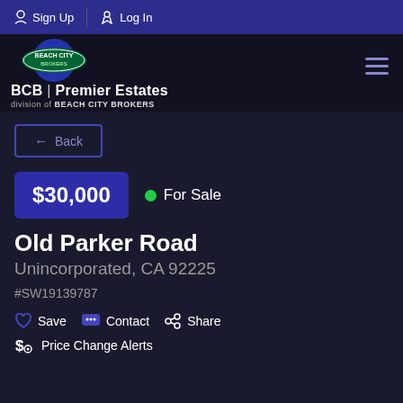Sign Up  Log In
[Figure (logo): Beach City Brokers logo with blue circle and oval badge. BCB | Premier Estates, division of BEACH CITY BROKERS]
← Back
$30,000  • For Sale
Old Parker Road
Unincorporated, CA 92225
#SW19139787
♡ Save  ✉ Contact  ⋮ Share
$ Price Change Alerts